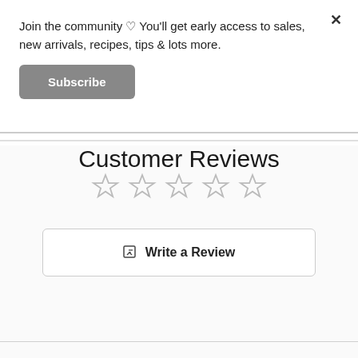Join the community ♡ You'll get early access to sales, new arrivals, recipes, tips & lots more.
Subscribe
Customer Reviews
[Figure (other): Five empty star rating icons in a row]
✏ Write a Review